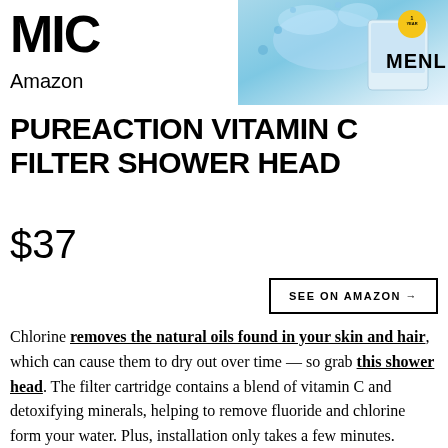MIC Amazon
[Figure (photo): Product advertisement image with water splash and text 'MENL' with a 1 YEAR badge, teal/blue background]
PUREACTION VITAMIN C FILTER SHOWER HEAD
$37
SEE ON AMAZON →
Chlorine removes the natural oils found in your skin and hair, which can cause them to dry out over time — so grab this shower head. The filter cartridge contains a blend of vitamin C and detoxifying minerals, helping to remove fluoride and chlorine form your water. Plus, installation only takes a few minutes.